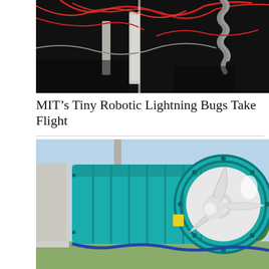[Figure (photo): Close-up photo of robotic/mechanical device components with red wires and gray structural elements against a dark black background]
MIT's Tiny Robotic Lightning Bugs Take Flight
[Figure (photo): Large teal/turquoise colored turbine engine or fan unit with white propeller blades visible inside the circular opening, photographed outdoors]